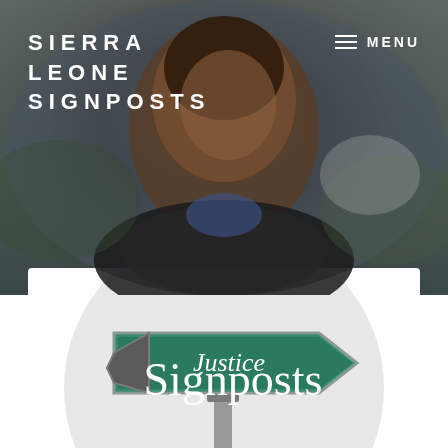SIERRA LEONE SIGNPOSTS
MENU
Signposts
[Figure (photo): Close-up portrait of an elderly Black man in a dark jacket against a blurred outdoor background, overlaid with the word 'Signposts' in white serif font]
[Figure (photo): A green directional signpost sign reading 'Justice' in white text, displayed on a grey circular background on a white card]